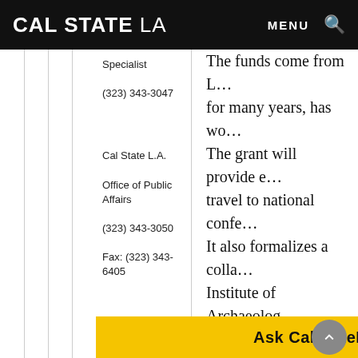CAL STATE LA  MENU 🔍
Specialist
(323) 343-3047
Cal State L.A.
Office of Public Affairs
(323) 343-3050
Fax: (323) 343-6405
The funds come from L… for many years, has wo… The grant will provide e… travel to national confe… It also formalizes a colla… Institute of Archaeolog… In a letter to Cal State L… relationship will Â  focu… L.A. to participate in arc… arrangement, he said, w… archaeology in Souther… ening of acade…
Ask CalStateLA